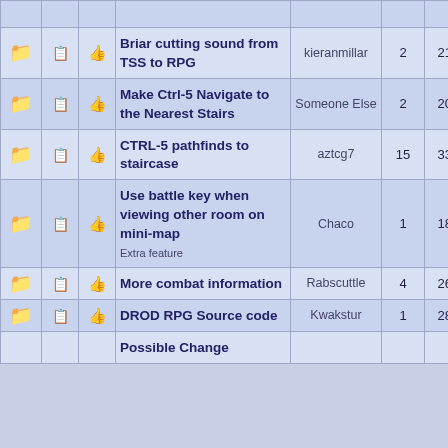|  |  |  | Title | Author | Replies | Views | Date |
| --- | --- | --- | --- | --- | --- | --- | --- |
| 📁 | 📋 | 👍 | Briar cutting sound from TSS to RPG | kieranmillar | 2 | 2109 | 03-05 |
| 📁 | 📋 | 👍 | Make Ctrl-5 Navigate to the Nearest Stairs | Someone Else | 2 | 2079 | 03-05 |
| 📁 | 📋 | 👍 | CTRL-5 pathfinds to staircase | aztcg7 | 15 | 3341 | 03-05 |
| 📁 | 📋 | 👍 | Use battle key when viewing other room on mini-map [Extra feature] | Chaco | 1 | 1850 | 03-05 |
| 📁 | 📋 | 👍 | More combat information | Rabscuttle | 4 | 2612 | 03-01 |
| 📁 | 📋 | 👍 | DROD RPG Source code | Kwakstur | 1 | 2822 | 03-01 |
| 📁 | 📋 | 👍 | Possible Change |  |  |  |  |